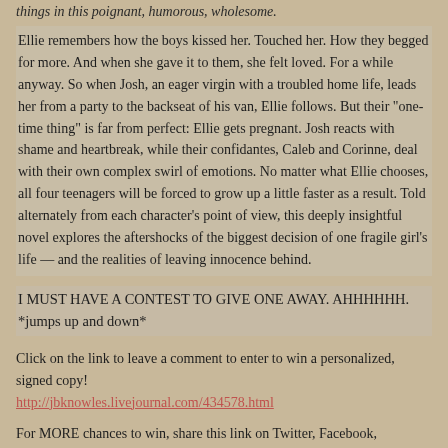things in this poignant, humorous, wholesome.
Ellie remembers how the boys kissed her. Touched her. How they begged for more. And when she gave it to them, she felt loved. For a while anyway. So when Josh, an eager virgin with a troubled home life, leads her from a party to the backseat of his van, Ellie follows. But their "one-time thing" is far from perfect: Ellie gets pregnant. Josh reacts with shame and heartbreak, while their confidantes, Caleb and Corinne, deal with their own complex swirl of emotions. No matter what Ellie chooses, all four teenagers will be forced to grow up a little faster as a result. Told alternately from each character's point of view, this deeply insightful novel explores the aftershocks of the biggest decision of one fragile girl's life — and the realities of leaving innocence behind.
I MUST HAVE A CONTEST TO GIVE ONE AWAY. AHHHHHH.
*jumps up and down*
Click on the link to leave a comment to enter to win a personalized, signed copy!
http://jbknowles.livejournal.com/434578.html
For MORE chances to win, share this link on Twitter, Facebook,